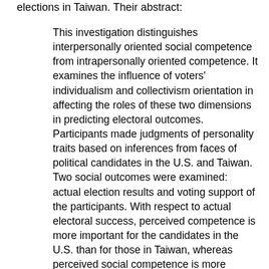elections in Taiwan. Their abstract:
This investigation distinguishes interpersonally oriented social competence from intrapersonally oriented competence. It examines the influence of voters' individualism and collectivism orientation in affecting the roles of these two dimensions in predicting electoral outcomes. Participants made judgments of personality traits based on inferences from faces of political candidates in the U.S. and Taiwan. Two social outcomes were examined: actual election results and voting support of the participants. With respect to actual electoral success, perceived competence is more important for the candidates in the U.S. than for those in Taiwan, whereas perceived social competence is more important for the candidates in Taiwan than for those in the U.S. With respect to subjective voting support, within cultural findings mirror those found cross-culturally. Competence is valued more among voters who are more individualistic, and social competence is valued more among those who are